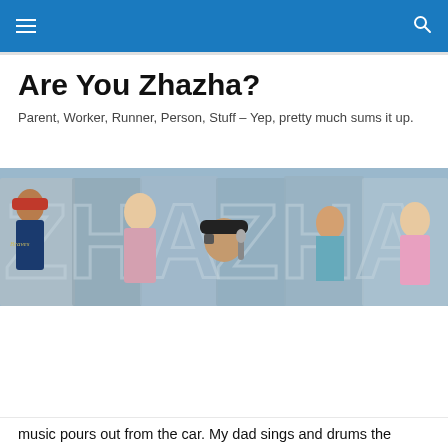Are You Zhazha? — navigation header with hamburger menu and search icon
Are You Zhazha?
Parent, Worker, Runner, Person, Stuff – Yep, pretty much sums it up.
[Figure (photo): Hero banner image showing several people (children and an adult man) in front of large 3D letters spelling ZHAZHA against a sky background]
Privacy & Cookies: This site uses cookies. By continuing to use this website, you agree to their use.
To find out more, including how to control cookies, see here: Cookie Policy

Close and accept
music pours out from the car. My dad sings and drums the